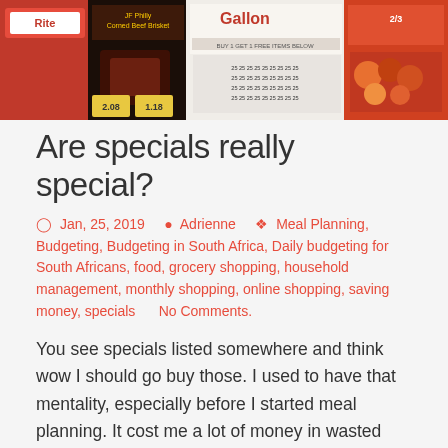[Figure (photo): A collage of grocery store sale flyers and specials advertisements, showing various food products with price tags and promotional banners from supermarkets.]
Are specials really special?
Jan, 25, 2019   Adrienne   Meal Planning, Budgeting, Budgeting in South Africa, Daily budgeting for South Africans, food, grocery shopping, household management, monthly shopping, online shopping, saving money, specials     No Comments.
You see specials listed somewhere and think wow I should go buy those. I used to have that mentality, especially before I started meal planning. It cost me a lot of money in wasted food. Is it available at that price elsewhere? I have found sometimes that a favourite supermarket chain marks something like a [...]